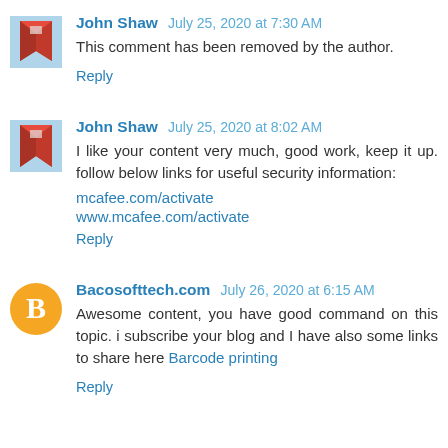John Shaw July 25, 2020 at 7:30 AM
This comment has been removed by the author.
Reply
John Shaw July 25, 2020 at 8:02 AM
I like your content very much, good work, keep it up. follow below links for useful security information:
mcafee.com/activate
www.mcafee.com/activate
Reply
Bacosofttech.com July 26, 2020 at 6:15 AM
Awesome content, you have good command on this topic. i subscribe your blog and I have also some links to share here Barcode printing
Reply